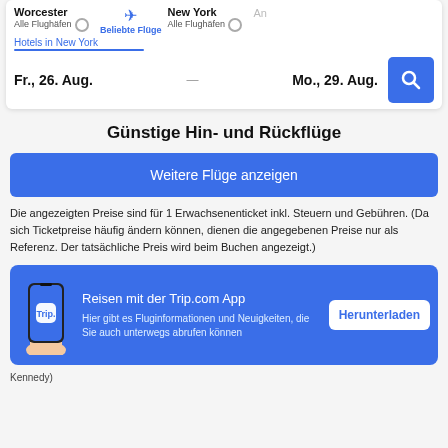[Figure (screenshot): Flight search interface showing Worcester and New York airports, with dates Fr., 26. Aug. to Mo., 29. Aug. and a search button. Tabs show 'Beliebte Flüge' and 'Hotels in New York'. Blue search button with magnifier icon.]
Günstige Hin- und Rückflüge
[Figure (screenshot): Blue button labeled 'Weitere Flüge anzeigen']
Die angezeigten Preise sind für 1 Erwachsenenticket inkl. Steuern und Gebühren. (Da sich Ticketpreise häufig ändern können, dienen die angegebenen Preise nur als Referenz. Der tatsächliche Preis wird beim Buchen angezeigt.)
[Figure (screenshot): Trip.com app promotion banner with phone illustration, title 'Reisen mit der Trip.com App', description 'Hier gibt es Fluginformationen und Neuigkeiten, die Sie auch unterwegs abrufen können', and a white 'Herunterladen' button.]
Kennedy)